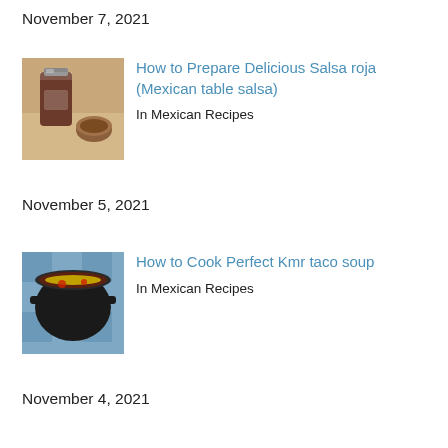November 7, 2021
[Figure (photo): Two glass jars with salsa roja (red sauce) and dry spices on a countertop]
How to Prepare Delicious Salsa roja (Mexican table salsa)
In Mexican Recipes
November 5, 2021
[Figure (photo): A black pot containing taco soup with shredded cheese on top, on a blue patterned surface]
How to Cook Perfect Kmr taco soup
In Mexican Recipes
November 4, 2021